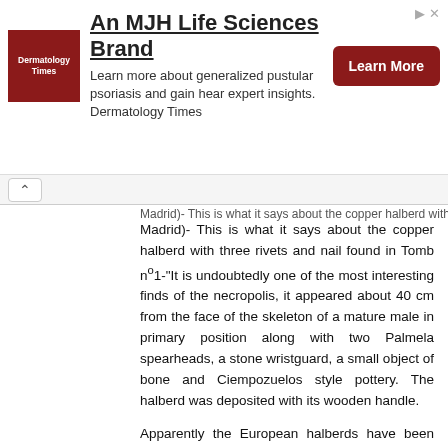[Figure (other): Advertisement banner for Dermatology Times, An MJH Life Sciences Brand, with red logo, description text about generalized pustular psoriasis, and a red Learn More button]
Madrid)- This is what it says about the copper halberd with three rivets and nail found in Tomb nº1-"It is undoubtedly one of the most interesting finds of the necropolis, it appeared about 40 cm from the face of the skeleton of a mature male in primary position along with two Palmela spearheads, a stone wristguard, a small object of bone and Ciempozuelos style pottery. The halberd was deposited with its wooden handle.
Apparently the European halberds have been studied by Schubart (1,973), Schumacher (2,002), Brandherm (2,011), this says the archaeologist responsible for the excavation
"The way to hold the piece of copper and the rivets, are their links with the archaic system exclusive to the peninsular BB daggers. Not in vain, the only halberd